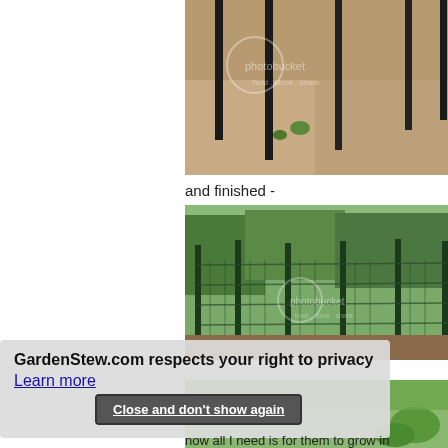[Figure (photo): Close-up photo of garden stakes/poles in bare soil with small plant seedlings, photobucket watermark visible]
and finished -
[Figure (photo): Photo of a completed garden fence enclosure made of wire mesh and dark metal posts, with trees in background, photobucket watermark visible]
[Figure (photo): Partial photo of garden with green plants visible at bottom]
GardenStew.com respects your right to privacy
Learn more
Close and don't show again
now all I need is for them to grow in